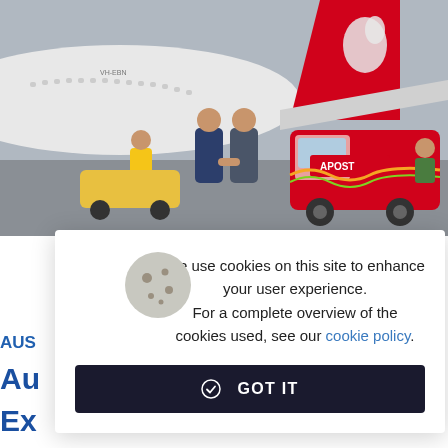[Figure (photo): Photograph showing two men in suits shaking hands on an airport tarmac in front of a Qantas airplane tail and an Australia Post red delivery van. A worker in a yellow vest sits on a ground vehicle to the left, and another worker is visible in the van.]
We use cookies on this site to enhance your user experience. For a complete overview of the cookies used, see our cookie policy.
GOT IT
AUS
Au
Ex